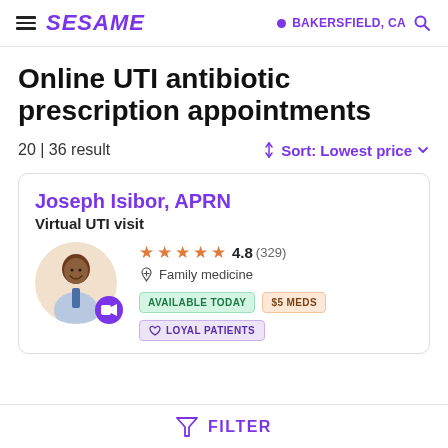SESAME | BAKERSFIELD, CA
Online UTI antibiotic prescription appointments
20 | 36 result
Sort: Lowest price
Joseph Isibor, APRN
Virtual UTI visit
4.8 (329)
Family medicine
AVAILABLE TODAY | $5 MEDS | LOYAL PATIENTS
FILTER